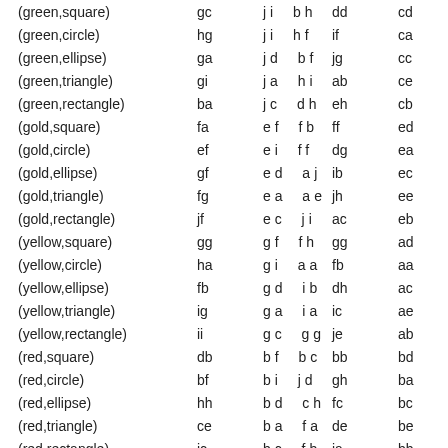| (green,square) | gc | ji  bh | dd | cd |
| (green,circle) | hg | ji  hf | if | ca |
| (green,ellipse) | ga | jd  bf | jg | cc |
| (green,triangle) | gi | ja  hi | ab | ce |
| (green,rectangle) | ba | jc  dh | eh | cb |
| (gold,square) | fa | ef  fb | ff | ed |
| (gold,circle) | ef | ei  ff | dg | ea |
| (gold,ellipse) | gf | ed  aj | ib | ec |
| (gold,triangle) | fg | ea  ae | jh | ee |
| (gold,rectangle) | jf | ec  ji | ac | eb |
| (yellow,square) | gg | gf  fh | gg | ad |
| (yellow,circle) | ha | gi  aa | fb | aa |
| (yellow,ellipse) | fb | gd  ib | dh | ac |
| (yellow,triangle) | ig | ga  ia | ic | ae |
| (yellow,rectangle) | ii | gc  gg | je | ab |
| (red,square) | db | bf  bc | bb | bd |
| (red,circle) | bf | bi  jd | gh | ba |
| (red,ellipse) | hh | bd  ch | fc | bc |
| (red,triangle) | ce | ba  fa | de | be |
| (red,rectangle) | jc | bc  fb | ia | bb |